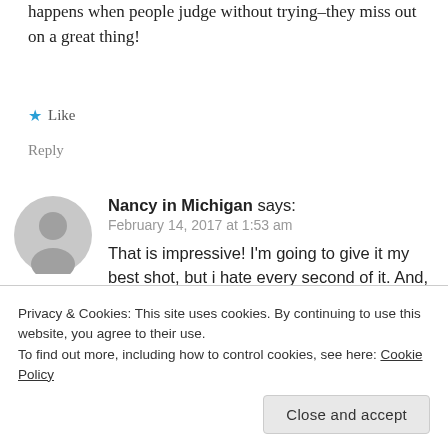happens when people judge without trying–they miss out on a great thing!
Like
Reply
[Figure (illustration): Gray default user avatar circle with person silhouette]
Nancy in Michigan says:
February 14, 2017 at 1:53 am
That is impressive! I'm going to give it my best shot, but i hate every second of it. And, there is NO chance I am getting up that early on the weekend.
Privacy & Cookies: This site uses cookies. By continuing to use this website, you agree to their use. To find out more, including how to control cookies, see here: Cookie Policy
Close and accept